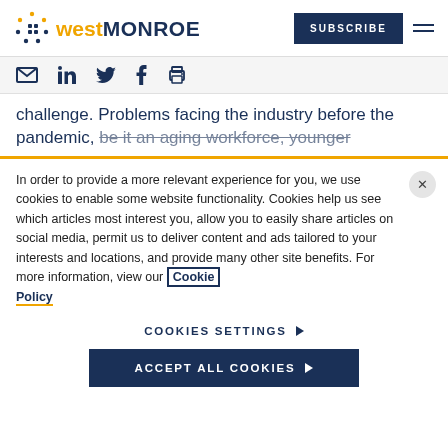west MONROE | SUBSCRIBE
challenge. Problems facing the industry before the pandemic, be it an aging workforce, younger...
In order to provide a more relevant experience for you, we use cookies to enable some website functionality. Cookies help us see which articles most interest you, allow you to easily share articles on social media, permit us to deliver content and ads tailored to your interests and locations, and provide many other site benefits. For more information, view our Cookie Policy
COOKIES SETTINGS
ACCEPT ALL COOKIES